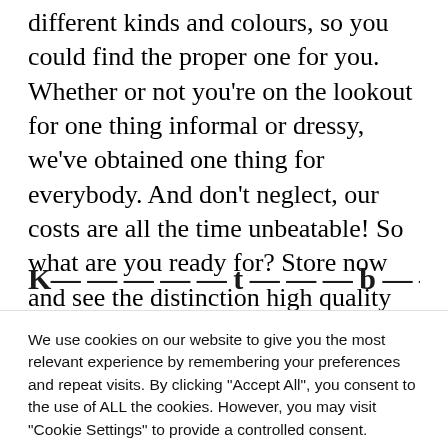an amazing number of models in all totally different kinds and colours, so you could find the proper one for you. Whether or not you're on the lookout for one thing informal or dressy, we've obtained one thing for everybody. And don't neglect, our costs are all the time unbeatable! So what are you ready for? Store now and see the distinction high quality merchandise makes. You gained't be dissatisfied!
K— — — — — — — t — — — b — — — — i — — —
We use cookies on our website to give you the most relevant experience by remembering your preferences and repeat visits. By clicking "Accept All", you consent to the use of ALL the cookies. However, you may visit "Cookie Settings" to provide a controlled consent.